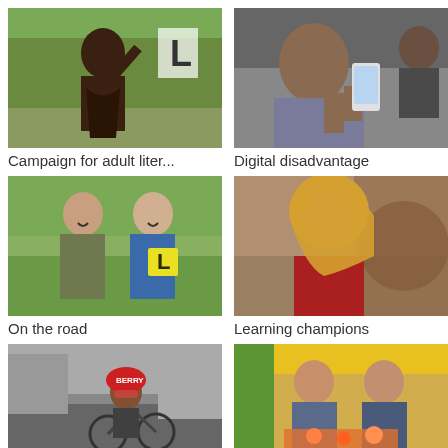[Figure (photo): Indigenous Australian man with body paint performing or demonstrating, outdoors with trees in background]
Campaign for adult liter...
[Figure (photo): Elderly person holding a smartphone, viewed from behind/side]
Digital disadvantage
[Figure (photo): Two young women smiling outdoors, one holding an L-plate learner driver sign]
On the road
[Figure (photo): Woman wearing a golden/yellow hijab smiling, background with artwork]
Learning champions
[Figure (photo): Man on a bicycle wearing a helmet with sunglasses, on a street]
[Figure (photo): Two women smiling together indoors, appears to be a community event with food]